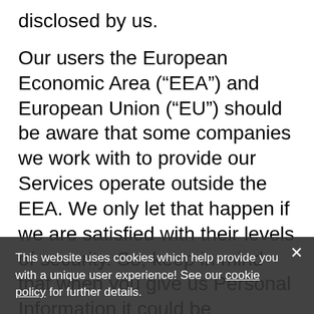disclosed by us.
Our users the European Economic Area (“EEA”) and European Union (“EU”) should be aware that some companies we work with to provide our Services operate outside the EEA. We only let that happen if we are satisfied with their levels of security. So, keep in mind that when you give us Personal Information it could be transferred, stored or processed in a location outside the EEA or EU.
Transfer of Data
We maintain servers in various locations worldwide and therefore your information may be processed in a jurisdiction different from your country. We comply with data protection laws in all applicable
This website uses cookies which help provide you with a unique user experience! See our cookie policy for further details.